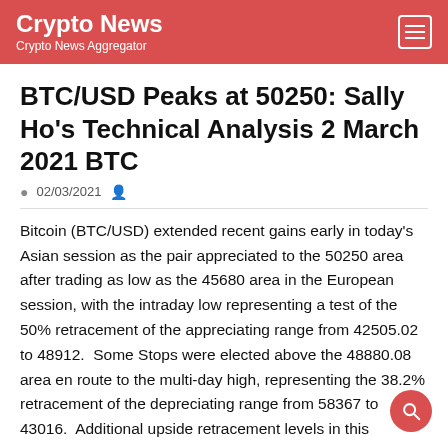Crypto News
Crypto News Aggregator
BTC/USD Peaks at 50250: Sally Ho's Technical Analysis 2 March 2021 BTC
02/03/2021
Bitcoin (BTC/USD) extended recent gains early in today's Asian session as the pair appreciated to the 50250 area after trading as low as the 45680 area in the European session, with the intraday low representing a test of the 50% retracement of the appreciating range from 42505.02 to 48912.  Some Stops were elected above the 48880.08 area en route to the multi-day high, representing the 38.2% retracement of the depreciating range from 58367 to 43016.  Additional upside retracement levels in this depreciating range include 50691.50, 52502.92, 54744.16, and 55081.89.  Chartists also observe the move higher is also the first time BTC/USD has traded above the 200-bar simple